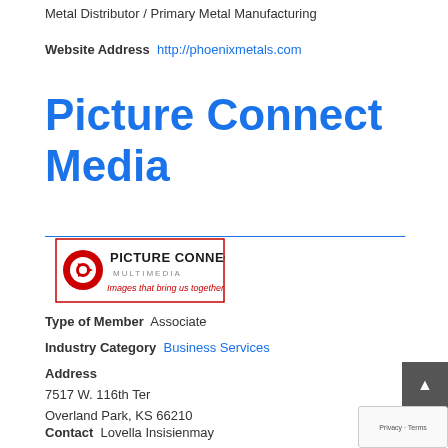Metal Distributor / Primary Metal Manufacturing
Website Address  http://phoenixmetals.com
Picture Connect Media
[Figure (logo): Picture Connect Multimedia logo with red swirl icon and tagline 'Images that bring us together']
Type of Member  Associate
Industry Category  Business Services
Address
7517 W. 116th Ter
Overland Park, KS 66210
Contact  Lovella Insisienmay